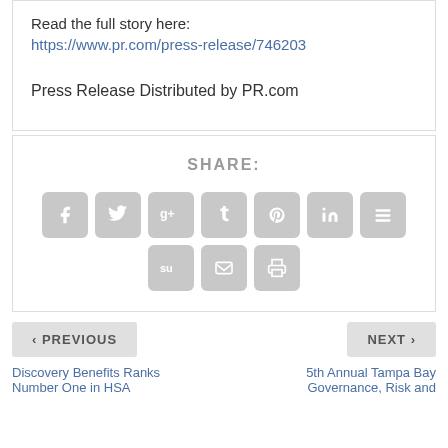Read the full story here:
https://www.pr.com/press-release/746203
Press Release Distributed by PR.com
SHARE:
[Figure (other): Social share buttons: Facebook, Twitter, Google+, Tumblr, Pinterest, LinkedIn, Buffer (top row); StumbleUpon, Email, Print (bottom row) — all grey rounded square icon buttons]
< PREVIOUS
NEXT >
Discovery Benefits Ranks Number One in HSA
5th Annual Tampa Bay Governance, Risk and